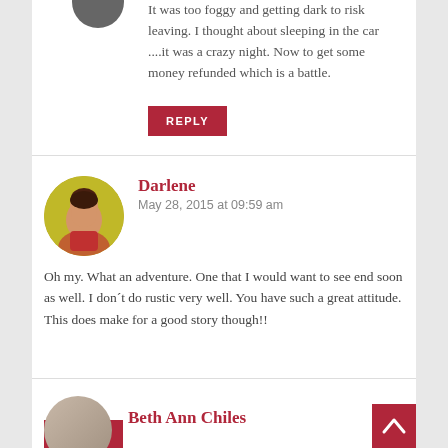It was too foggy and getting dark to risk leaving. I thought about sleeping in the car ....it was a crazy night. Now to get some money refunded which is a battle.
REPLY
Darlene
May 28, 2015 at 09:59 am
Oh my. What an adventure. One that I would want to see end soon as well. I don´t do rustic very well. You have such a great attitude. This does make for a good story though!!
REPLY
Beth Ann Chiles
[Figure (other): Back to top button - dark red square with white upward chevron arrow]